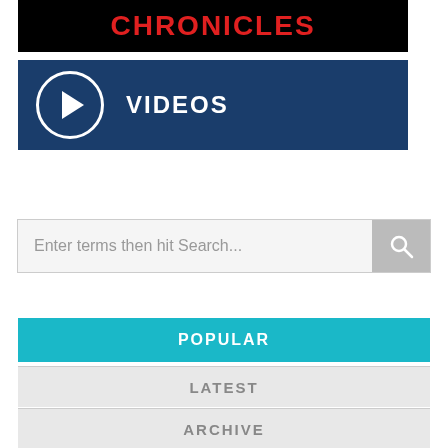[Figure (logo): Crackdown Chronicles title banner with red text on black background]
[Figure (screenshot): Videos navigation button with play circle icon on dark blue background]
[Figure (screenshot): Search bar with placeholder text and search button]
POPULAR
LATEST
ARCHIVE